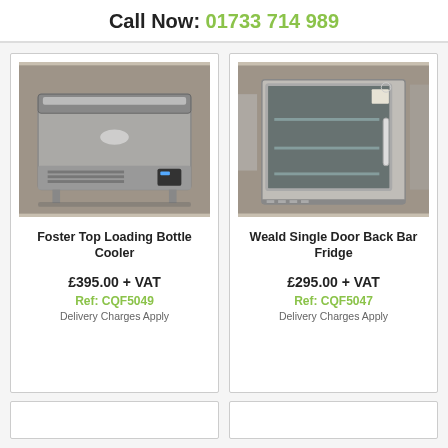Call Now: 01733 714 989
[Figure (photo): Foster Top Loading Bottle Cooler - stainless steel commercial refrigeration unit with sliding top lid and front ventilation grille]
Foster Top Loading Bottle Cooler
£395.00 + VAT
Ref: CQF5049
Delivery Charges Apply
[Figure (photo): Weald Single Door Back Bar Fridge - stainless steel commercial refrigerator with glass door showing interior shelving]
Weald Single Door Back Bar Fridge
£295.00 + VAT
Ref: CQF5047
Delivery Charges Apply